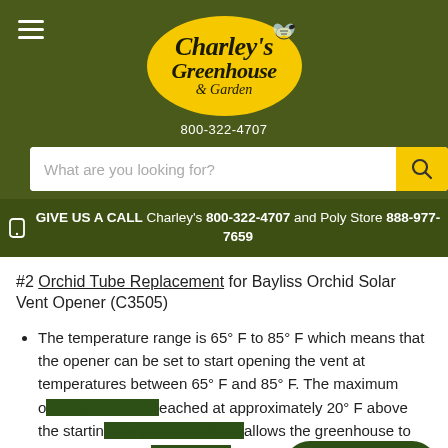[Figure (logo): Charley's Greenhouse & Garden logo — yellow oval with script text]
800-322-4707
What are you looking for?
GIVE US A CALL Charley's 800-322-4707 and Poly Store 888-977-7659
#2 Orchid Tube Replacement for Bayliss Orchid Solar Vent Opener (C3505)
The temperature range is 65° F to 85° F which means that the opener can be set to start opening the vent at temperatures between 65° F and 85° F. The maximum opening of 40° is reached at approximately 20° F above the starting temperature which allows the greenhouse to get about 10 degrees hotter than the Standard Replacement Tube.